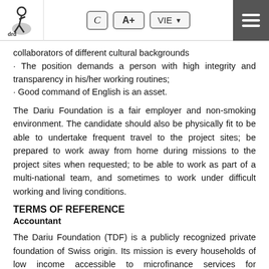drd logo | C A+ | VIE | menu
collaborators of different cultural backgrounds
· The position demands a person with high integrity and transparency in his/her working routines;
· Good command of English is an asset.
The Dariu Foundation is a fair employer and non-smoking environment. The candidate should also be physically fit to be able to undertake frequent travel to the project sites; be prepared to work away from home during missions to the project sites when requested; to be able to work as part of a multi-national team, and sometimes to work under difficult working and living conditions.
TERMS OF REFERENCE
Accountant
The Dariu Foundation (TDF) is a publicly recognized private foundation of Swiss origin. Its mission is every households of low income accessible to microfinance services for employment,